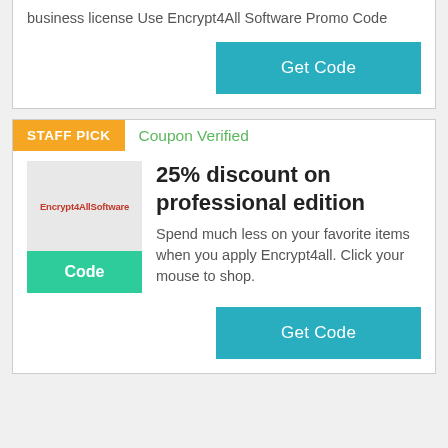business license Use Encrypt4All Software Promo Code
Get Code
STAFF PICK
Coupon Verified
[Figure (logo): Encrypt4All Software logo on grey background]
Code
25% discount on professional edition
Spend much less on your favorite items when you apply Encrypt4all. Click your mouse to shop.
Get Code